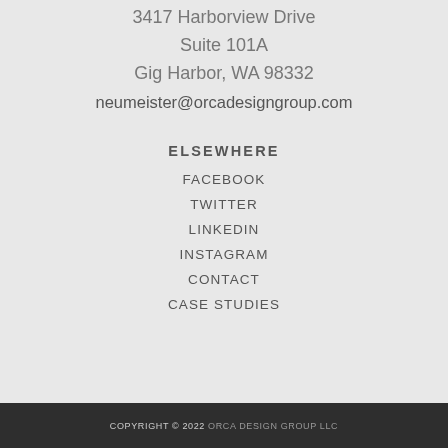3417 Harborview Drive
Suite 101A
Gig Harbor, WA 98332
neumeister@orcadesigngroup.com
ELSEWHERE
FACEBOOK
TWITTER
LINKEDIN
INSTAGRAM
CONTACT
CASE STUDIES
COPYRIGHT © 2022 ORCA DESIGN GROUP LLC